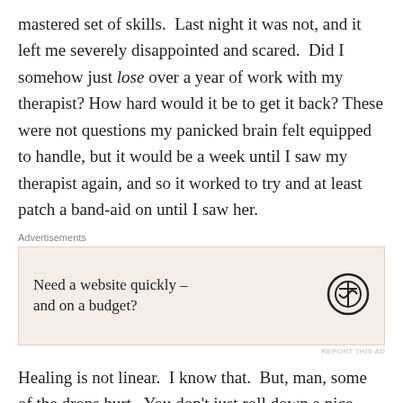mastered set of skills.  Last night it was not, and it left me severely disappointed and scared.  Did I somehow just lose over a year of work with my therapist? How hard would it be to get it back? These were not questions my panicked brain felt equipped to handle, but it would be a week until I saw my therapist again, and so it worked to try and at least patch a band-aid on until I saw her.
[Figure (other): Advertisement block with light pinkish background. Text: 'Need a website quickly – and on a budget?' with WordPress logo circle on the right.]
Healing is not linear.  I know that.  But, man, some of the drops hurt.  You don't just roll down a nice, soft
[Figure (other): Advertisement block with dark navy background. Shows a small white square icon followed by '2' and the text 'Fewer meetings, more work.' in bold white font.]